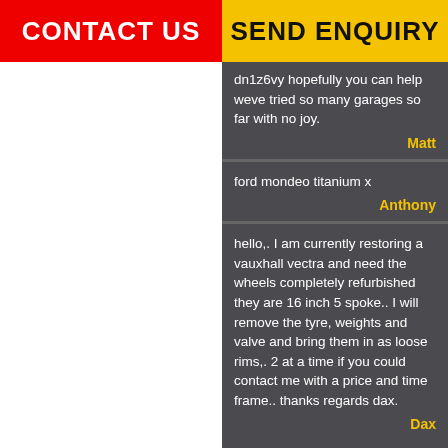CONTACT US
SEND ENQUIRY
dn1z6vy hopefully you can help weve tried so many garages so far with no joy.
Matt
ford mondeo titanium x
Anthony
hello,. I am currently restoring a vauxhall vectra and need the wheels completely refurbished they are 16 inch 5 spoke.. I will remove the tyre, weights and valve and bring them in as loose rims,. 2 at a time if you could contact me with a price and time frame.. thanks regards dax.
Dax